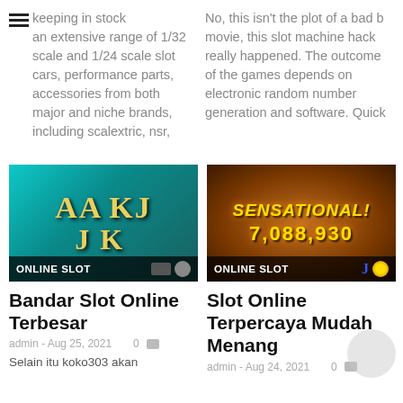keeping in stock an extensive range of 1/32 scale and 1/24 scale slot cars, performance parts, accessories from both major and niche brands, including scalextric, nsr,
No, this isn't the plot of a bad b movie, this slot machine hack really happened. The outcome of the games depends on electronic random number generation and software. Quick
[Figure (screenshot): Online slot game screenshot showing card symbols AA KJ JOK with teal background, label ONLINE SLOT]
[Figure (screenshot): Online slot game screenshot showing SENSATIONAL! 7,088,930 with orange/fire background, label ONLINE SLOT]
Bandar Slot Online Terbesar
admin - Aug 25, 2021    0
Selain itu koko303 akan
Slot Online Terpercaya Mudah Menang
admin - Aug 24, 2021    0